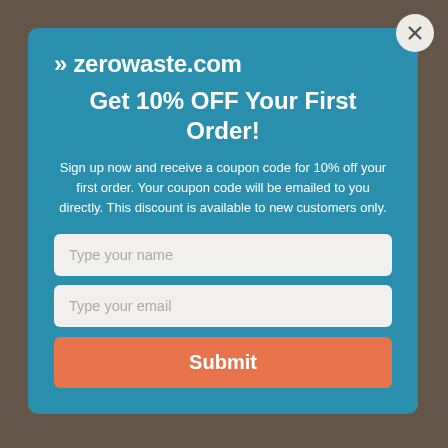[Figure (screenshot): Background blurred page content behind the modal overlay]
»zerowaste.com
Get 10% OFF Your First Order!
Sign up now and receive a coupon code for 10% off your first order. Your coupon code will be emailed to you directly. This discount is available to new customers only.
Type your name
Type your email
Submit